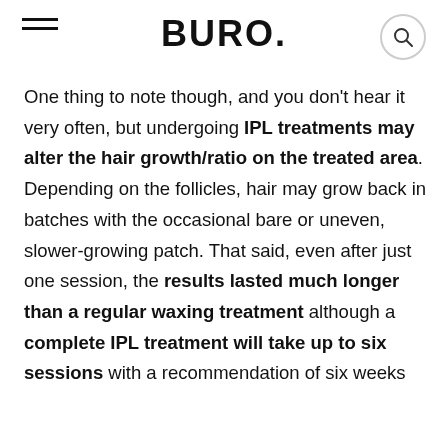BURO.
One thing to note though, and you don't hear it very often, but undergoing IPL treatments may alter the hair growth/ratio on the treated area. Depending on the follicles, hair may grow back in batches with the occasional bare or uneven, slower-growing patch. That said, even after just one session, the results lasted much longer than a regular waxing treatment although a complete IPL treatment will take up to six sessions with a recommendation of six weeks